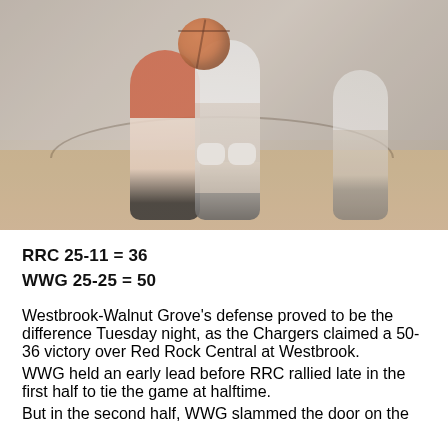[Figure (photo): Basketball players in action on an indoor court. One player in a red/orange uniform and another in white are competing for the ball. The court floor and additional players are visible in the background.]
RRC 25-11 = 36
WWG 25-25 = 50
Westbrook-Walnut Grove's defense proved to be the difference Tuesday night, as the Chargers claimed a 50-36 victory over Red Rock Central at Westbrook.
WWG held an early lead before RRC rallied late in the first half to tie the game at halftime.
But in the second half, WWG slammed the door on the